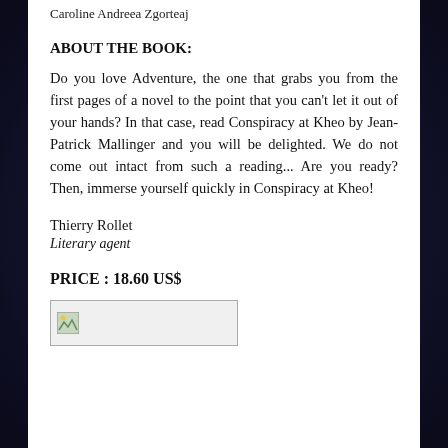Caroline Andreea Zgorteaj
ABOUT THE BOOK:
Do you love Adventure, the one that grabs you from the first pages of a novel to the point that you can't let it out of your hands? In that case, read Conspiracy at Kheo by Jean-Patrick Mallinger and you will be delighted. We do not come out intact from such a reading... Are you ready? Then, immerse yourself quickly in Conspiracy at Kheo!
Thierry Rollet
Literary agent
PRICE : 18.60 US$
[Figure (photo): Small image placeholder with broken image icon]